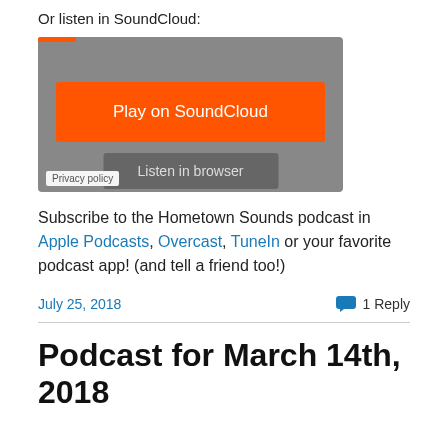Or listen in SoundCloud:
[Figure (screenshot): SoundCloud embedded player widget with orange 'Play on SoundCloud' button, grey 'Listen in browser' button, and 'Privacy policy' label]
Subscribe to the Hometown Sounds podcast in Apple Podcasts, Overcast, TuneIn or your favorite podcast app! (and tell a friend too!)
July 25, 2018
1 Reply
Podcast for March 14th, 2018